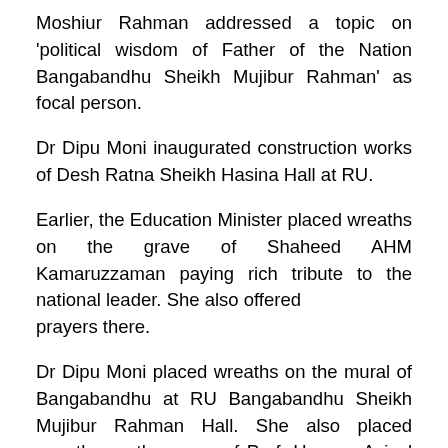Moshiur Rahman addressed a topic on 'political wisdom of Father of the Nation Bangabandhu Sheikh Mujibur Rahman' as focal person.
Dr Dipu Moni inaugurated construction works of Desh Ratna Sheikh Hasina Hall at RU.
Earlier, the Education Minister placed wreaths on the grave of Shaheed AHM Kamaruzzaman paying rich tribute to the national leader. She also offered prayers there.
Dr Dipu Moni placed wreaths on the mural of Bangabandhu at RU Bangabandhu Sheikh Mujibur Rahman Hall. She also placed wreaths on the grave of Prof. Hassan Azizul Hoque